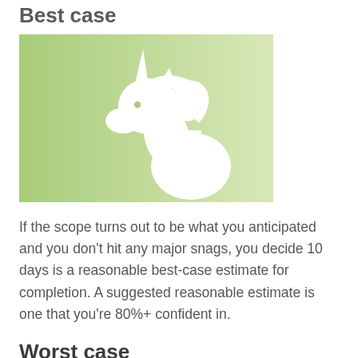Best case
[Figure (illustration): A white unicorn silhouette on a green gradient background (light green to white, left to right). The unicorn faces left and has a horn pointing upward.]
If the scope turns out to be what you anticipated and you don't hit any major snags, you decide 10 days is a reasonable best-case estimate for completion. A suggested reasonable estimate is one that you're 80%+ confident in.
Worst case